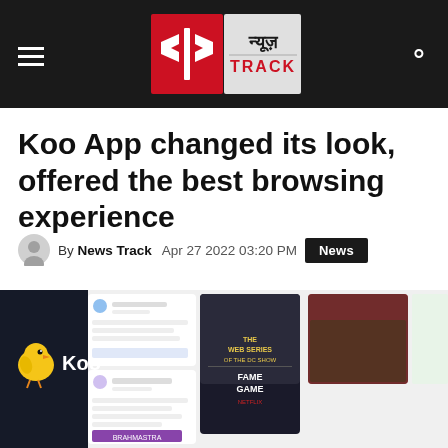न्यूज़ TRACK — News Track
Koo App changed its look, offered the best browsing experience
By News Track   Apr 27 2022 03:20 PM   News
[Figure (screenshot): Koo App promotional screenshot showing the Koo logo (yellow bird mascot) and multiple app interface cards with social posts, cricket images, Netflix show promotions, and other content]